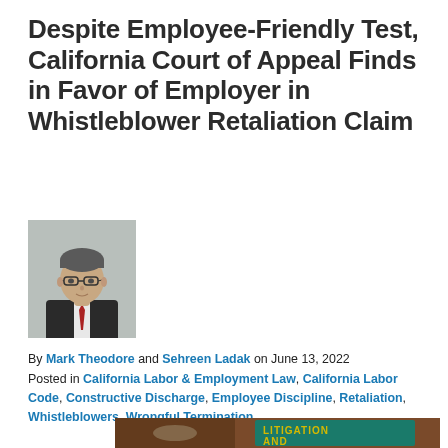Despite Employee-Friendly Test, California Court of Appeal Finds in Favor of Employer in Whistleblower Retaliation Claim
[Figure (photo): Headshot of a man wearing glasses and a dark suit with a red tie, professional portrait photo]
By Mark Theodore and Sehreen Ladak on June 13, 2022
Posted in California Labor & Employment Law, California Labor Code, Constructive Discharge, Employee Discipline, Retaliation, Whistleblowers, Wrongful Termination
[Figure (photo): Photo of a law book titled LITIGATION AND with a gavel on a wooden surface background]